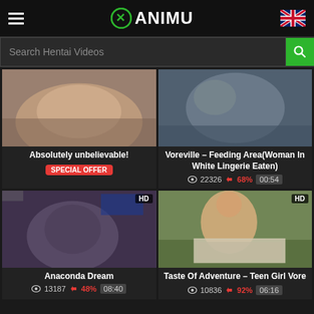XANIMU
Search Hentai Videos
[Figure (photo): Thumbnail image for 'Absolutely unbelievable!' video]
Absolutely unbelievable!
SPECIAL OFFER
[Figure (photo): Thumbnail image for 'Voreville – Feeding Area(Woman In White Lingerie Eaten)' video]
Voreville – Feeding Area(Woman In White Lingerie Eaten)
22326 68% 00:54
[Figure (photo): HD thumbnail image for 'Anaconda Dream' video]
Anaconda Dream
13187 48% 08:40
[Figure (photo): HD thumbnail image for 'Taste Of Adventure – Teen Girl Vore' video]
Taste Of Adventure – Teen Girl Vore
10836 92% 06:16